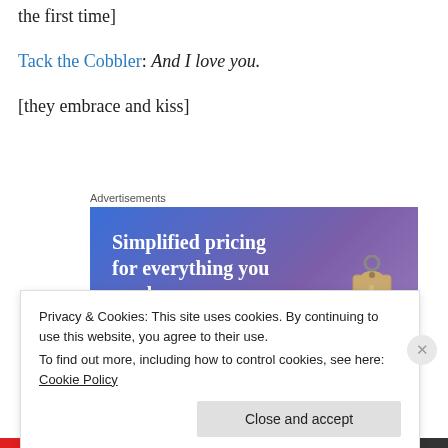the first time]
Tack the Cobbler: And I love you.
[they embrace and kiss]
[Figure (other): Advertisement banner: 'Simplified pricing for everything you need. Build Your Website' with a price tag graphic on a blue-purple gradient background.]
Privacy & Cookies: This site uses cookies. By continuing to use this website, you agree to their use. To find out more, including how to control cookies, see here: Cookie Policy
Close and accept